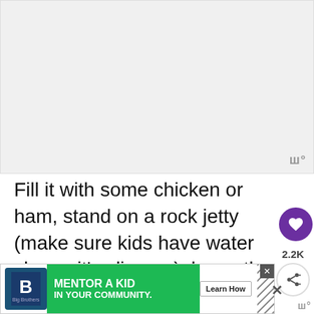[Figure (photo): Large blank/light gray image area occupying the top portion of the page, with a watermark symbol in the bottom-right corner]
Fill it with some chicken or ham, stand on a rock jetty (make sure kids have water shoes, it's slippery), lower the net into water, wait one minute and voila! You'll have a net filled w...
[Figure (infographic): Advertisement banner: Big Brothers Big Sisters of America - Mentor a Kid in Your Community. Learn How button. Green and white design with hatched pattern.]